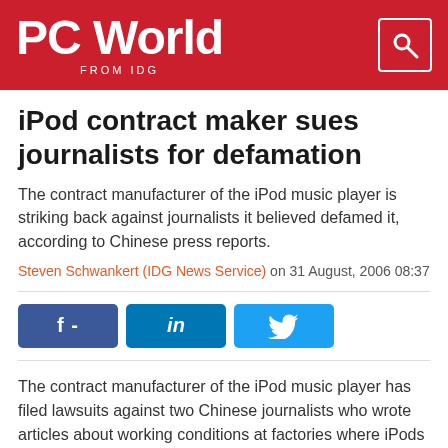PC World FROM IDG
iPod contract maker sues journalists for defamation
The contract manufacturer of the iPod music player is striking back against journalists it believed defamed it, according to Chinese press reports.
Steven Schwankert (IDG News Service) on 31 August, 2006 08:37
[Figure (other): Social sharing buttons: Facebook, LinkedIn, Twitter]
The contract manufacturer of the iPod music player has filed lawsuits against two Chinese journalists who wrote articles about working conditions at factories where iPods are made, according to Chinese press reports.